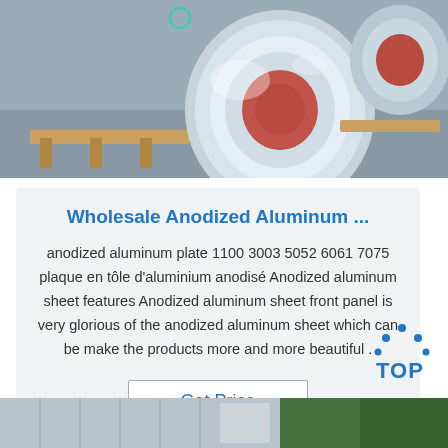[Figure (photo): Photo of aluminum coil rolls stacked on wooden pallets on a concrete floor, metallic silver appearance]
Wholesale Anodized Aluminum ...
anodized aluminum plate 1100 3003 5052 6061 7075 plaque en tôle d'aluminium anodisé Anodized aluminum sheet features Anodized aluminum sheet front panel is very glorious of the anodized aluminum sheet which can be make the products more and more beautiful .
Get Price
[Figure (logo): TOP logo with blue dotted arc above the word TOP in blue letters]
[Figure (photo): Partial photo of aluminum sheets/rolls with green containers visible in the background]